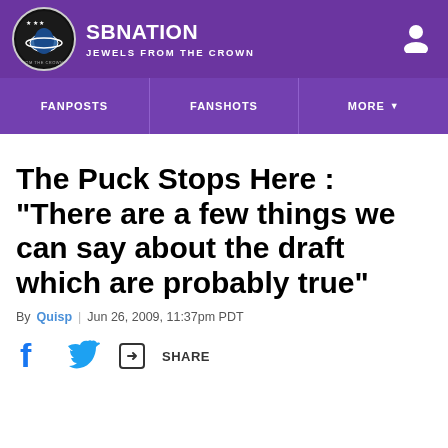SB NATION | JEWELS FROM THE CROWN
The Puck Stops Here : "There are a few things we can say about the draft which are probably true"
By Quisp | Jun 26, 2009, 11:37pm PDT